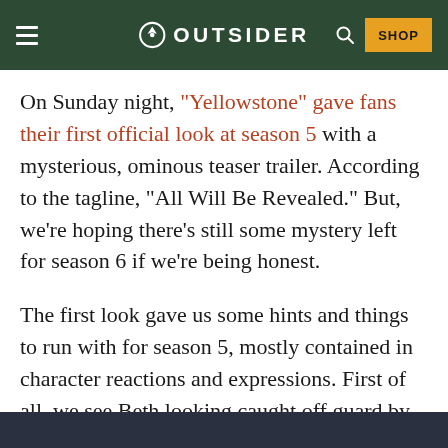OUTSIDER
On Sunday night, "Yellowstone" gave fans their first official look at season 5 with a mysterious, ominous teaser trailer. According to the tagline, “All Will Be Revealed.” But, we’re hoping there’s still some mystery left for season 6 if we’re being honest.
The first look gave us some hints and things to run with for season 5, mostly contained in character reactions and expressions. First of all, we see Beth looking caught off guard by something or someone. She looks surprised at